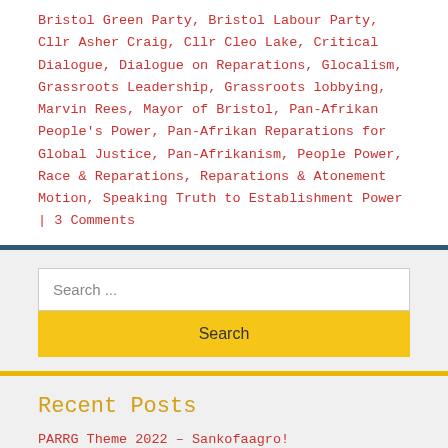Bristol Green Party, Bristol Labour Party, Cllr Asher Craig, Cllr Cleo Lake, Critical Dialogue, Dialogue on Reparations, Glocalism, Grassroots Leadership, Grassroots lobbying, Marvin Rees, Mayor of Bristol, Pan-Afrikan People's Power, Pan-Afrikan Reparations for Global Justice, Pan-Afrikanism, People Power, Race & Reparations, Reparations & Atonement Motion, Speaking Truth to Establishment Power | 3 Comments
Search ...
Search
Recent Posts
PARRG Theme 2022 – Sankofaagro!